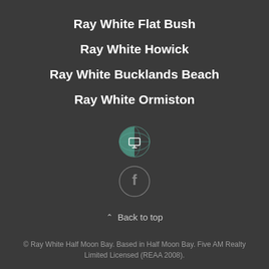Ray White Flat Bush
Ray White Howick
Ray White Bucklands Beach
Ray White Ormiston
[Figure (logo): Circular logo icon with teal/green half-circle design, representing a website/globe icon]
[Figure (logo): Circular Facebook icon with letter f in grey outline circle]
Back to top
© Ray White Half Moon Bay. Based in Half Moon Bay. Five AM Realty Limited Licensed (REAA 2008).